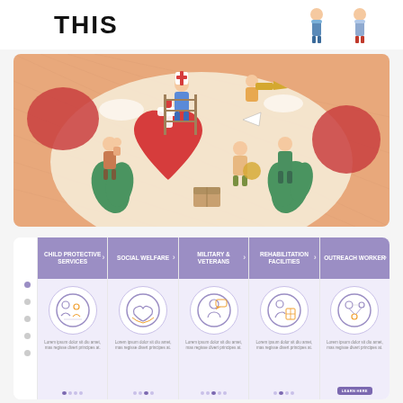THIS
[Figure (illustration): Colorful banner illustration showing volunteers and medical worker around a large red heart, with plants, on an orange/beige abstract background]
[Figure (infographic): Five mobile app onboarding screens showing social work categories: Child Protective Services, Social Welfare, Military & Veterans, Rehabilitation Facilities, Outreach Worker. Each card has a purple header, circular line-art icon, lorem ipsum text, and pagination dots at the bottom. The last card has a LEARN HERE button.]